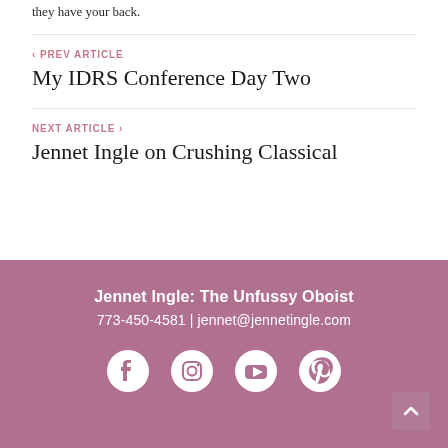they have your back.
< PREV ARTICLE
My IDRS Conference Day Two
NEXT ARTICLE >
Jennet Ingle on Crushing Classical
Jennet Ingle: The Unfussy Oboist
773-450-4581 | jennet@jennetingle.com